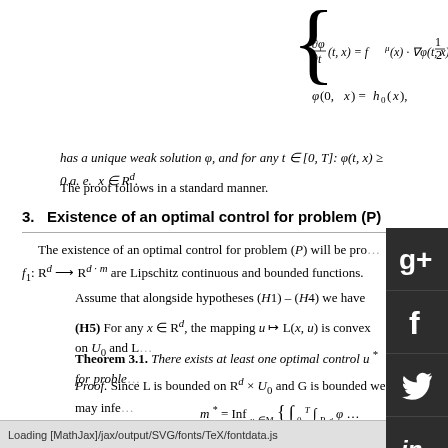has a unique weak solution φ, and for any t ∈ [0, T]: φ(t, x) ≥ 0 a. e.  x ∈ R^d.
The proof follows in a standard manner.
3.   Existence of an optimal control for problem (P)
The existence of an optimal control for problem (P) will be pro… f₁: R^d → R^(d·m) are Lipschitz continuous and bounded functions.
Assume that alongside hypotheses (H1) – (H4) we have
(H5) For any x ∈ R^d, the mapping u ↦ L(x, u) is convex on U₀ and L…
Theorem 3.1. There exists at least one optimal control u* for proble…
Proof. Since L is bounded on R^d × U₀ and G is bounded we may infe…
Loading [MathJax]/jax/output/SVG/fonts/TeX/fontdata.js